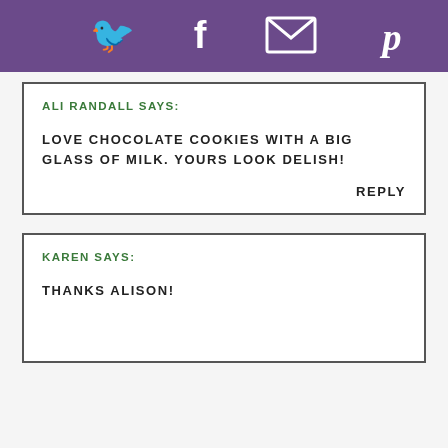[Figure (infographic): Purple header bar with social media icons: Twitter bird, Facebook f, email envelope, Pinterest p]
ALI RANDALL SAYS:
LOVE CHOCOLATE COOKIES WITH A BIG GLASS OF MILK. YOURS LOOK DELISH!
REPLY
KAREN SAYS:
THANKS ALISON!